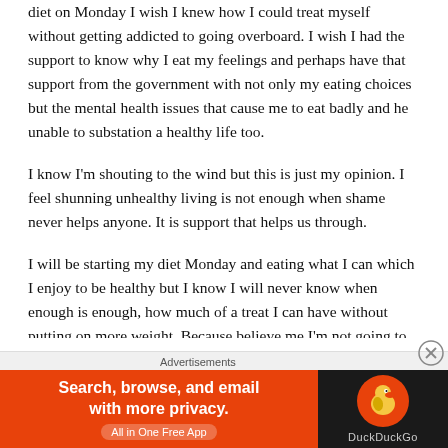diet on Monday I wish I knew how I could treat myself without getting addicted to going overboard. I wish I had the support to know why I eat my feelings and perhaps have that support from the government with not only my eating choices but the mental health issues that cause me to eat badly and he unable to substation a healthy life too.
I know I'm shouting to the wind but this is just my opinion. I feel shunning unhealthy living is not enough when shame never helps anyone. It is support that helps us through.
I will be starting my diet Monday and eating what I can which I enjoy to be healthy but I know I will never know when enough is enough, how much of a treat I can have without putting on more weight. Because believe me I'm not going to only eat 5 magic stars on a cinema trip and I'm also not going to munch on a
Advertisements
[Figure (other): DuckDuckGo advertisement banner: orange left panel with text 'Search, browse, and email with more privacy. All in One Free App' and dark right panel with DuckDuckGo duck logo and brand name.]